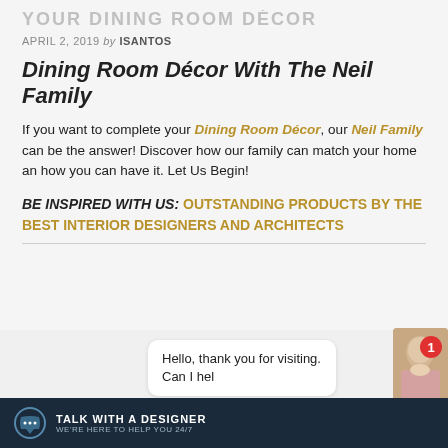YOUR DINING ROOM DÉCOR
APRIL 2, 2019 by ISANTOS
Dining Room Décor With The Neil Family
If you want to complete your Dining Room Décor, our Neil Family can be the answer! Discover how our family can match your home an how you can have it. Let Us Begin!
BE INSPIRED WITH US: OUTSTANDING PRODUCTS BY THE BEST INTERIOR DESIGNERS AND ARCHITECTS
[Figure (screenshot): Chat widget at bottom of page showing a chat bubble with 'Hello, thank you for visiting. Can I hel...' text, a female avatar, a red badge showing '1', and a dark navy chat bar labeled 'TALK WITH A DESIGNER / WE'RE HERE TO HELP YOU 24/7']